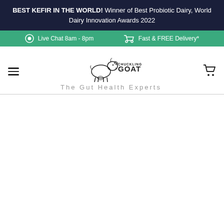BEST KEFIR IN THE WORLD! Winner of Best Probiotic Dairy, World Dairy Innovation Awards 2022
Live Chat 8am - 8pm   Fast & FREE Delivery*
[Figure (logo): Chuckling Goat logo with goat illustration and tagline 'The Gut Health Experts']
The Gut Health Experts